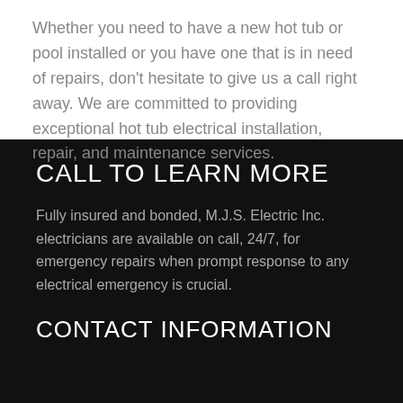Whether you need to have a new hot tub or pool installed or you have one that is in need of repairs, don't hesitate to give us a call right away. We are committed to providing exceptional hot tub electrical installation, repair, and maintenance services.
CALL TO LEARN MORE
Fully insured and bonded, M.J.S. Electric Inc. electricians are available on call, 24/7, for emergency repairs when prompt response to any electrical emergency is crucial.
CONTACT INFORMATION